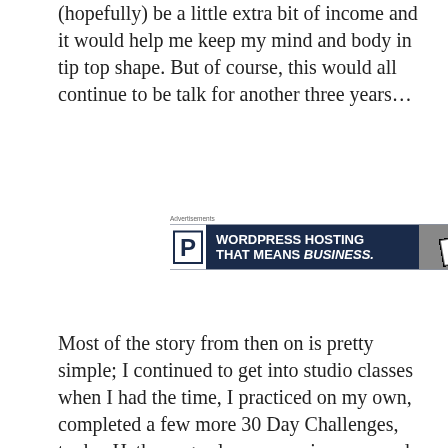(hopefully) be a little extra bit of income and it would help me keep my mind and body in tip top shape. But of course, this would all continue to be talk for another three years...
[Figure (screenshot): Advertisement banner for WordPress hosting. Shows 'Advertisements' label above. Banner has dark navy blue background with a white 'P' logo box on the left, text reading 'WORDPRESS HOSTING THAT MEANS BUSINESS.' in white bold text, and a photo of a store 'OPEN' sign on the right. 'REPORT THIS AD' in small text below.]
Most of the story from then on is pretty simple; I continued to get into studio classes when I had the time, I practiced on my own, completed a few more 30 Day Challenges, took a Hatha yoga class my senior year, and finished the semester thinking I had work for the summer and would have to continue to put off teacher training until I had the time and money to dedicate to it.